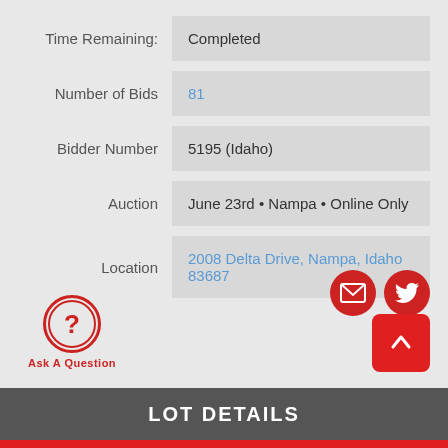| Field | Value |
| --- | --- |
| Time Remaining: | Completed |
| Number of Bids | 81 |
| Bidder Number | 5195 (Idaho) |
| Auction | June 23rd • Nampa • Online Only |
| Location | 2008 Delta Drive, Nampa, Idaho 83687 |
Ask A Question
LOT DETAILS